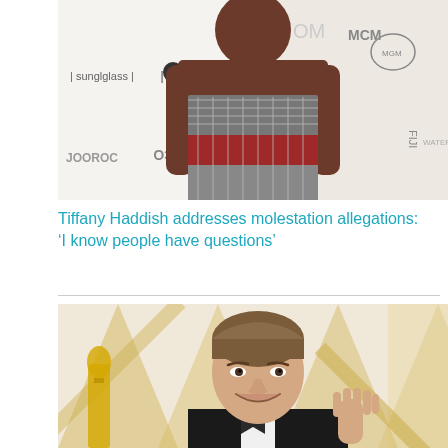[Figure (photo): Tiffany Haddish wearing a silver metallic strapless dress at a red carpet event with MGM and other brand logos visible in background]
Tiffany Haddish addresses molestation allegations: ‘I know people have questions’
[Figure (photo): Leonardo DiCaprio smiling and waving at what appears to be an Oscars red carpet event, with an Oscar statue visible to the left]